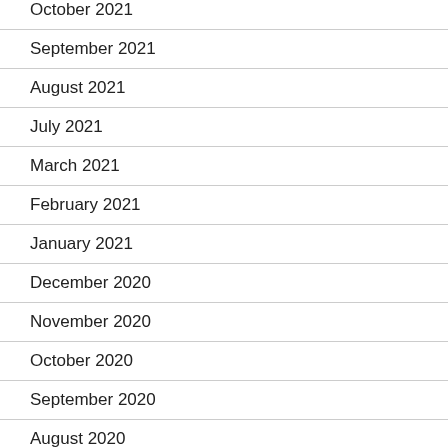October 2021
September 2021
August 2021
July 2021
March 2021
February 2021
January 2021
December 2020
November 2020
October 2020
September 2020
August 2020